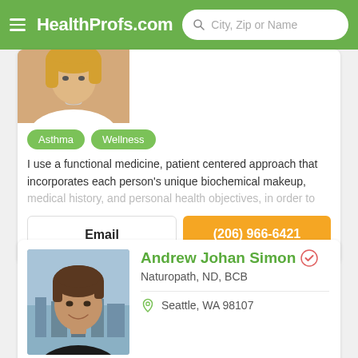HealthProfs.com
[Figure (photo): Partial photo of a blonde woman in a white top, cropped at top of frame]
Asthma
Wellness
I use a functional medicine, patient centered approach that incorporates each person's unique biochemical makeup, medical history, and personal health objectives, in order to
Email
(206) 966-6421
[Figure (photo): Photo of Andrew Johan Simon, a man with short brown hair wearing a black shirt, smiling, with a city skyline visible in background]
Andrew Johan Simon
Naturopath, ND, BCB
Seattle, WA 98107